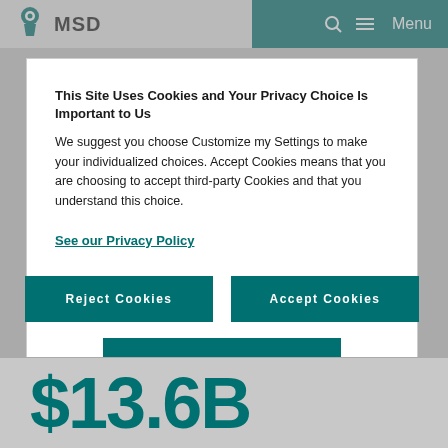MSD — Menu
This Site Uses Cookies and Your Privacy Choice Is Important to Us
We suggest you choose Customize my Settings to make your individualized choices. Accept Cookies means that you are choosing to accept third-party Cookies and that you understand this choice.
See our Privacy Policy
Reject Cookies
Accept Cookies
Customize my Settings
$13.6B